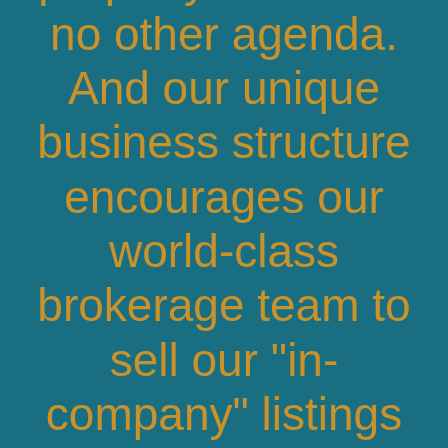property. We have no other agenda. And our unique business structure encourages our world-class brokerage team to sell our "in-company" listings first.